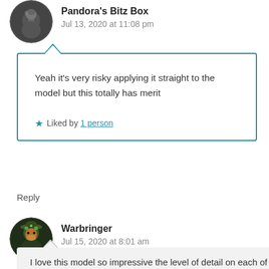Pandora's Bitz Box
Jul 13, 2020 at 11:08 pm
Yeah it's very risky applying it straight to the model but this totally has merit
Liked by 1 person
Reply
Warbringer
Jul 15, 2020 at 8:01 am
I love this model so impressive the level of detail on each of